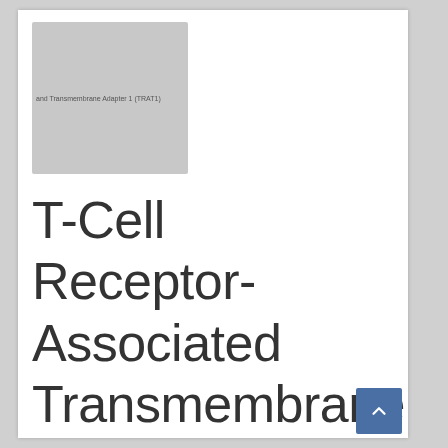[Figure (screenshot): Thumbnail image placeholder showing text 'and Transmembrane Adapter 1 (TRAT1)' on a grey rectangle background]
T-Cell Receptor-Associated Transmembrane Adapter 1 (TRAT1) Antibody (Biotin)